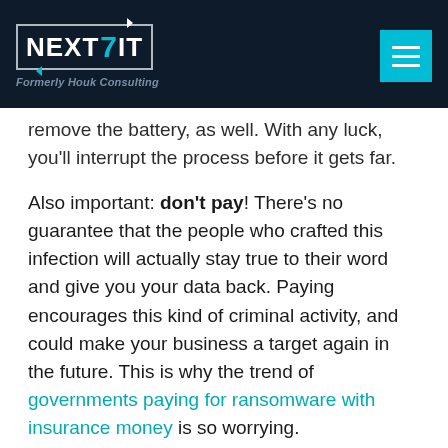NEXT7IT — Formerly Houk Consulting
remove the battery, as well. With any luck, you'll interrupt the process before it gets far.
Also important: don't pay! There's no guarantee that the people who crafted this infection will actually stay true to their word and give you your data back. Paying encourages this kind of criminal activity, and could make your business a target again in the future. This is why the trend of governments paying for ransomware with insurance money is so worrying.
If you can't shut down the machine in time, or the